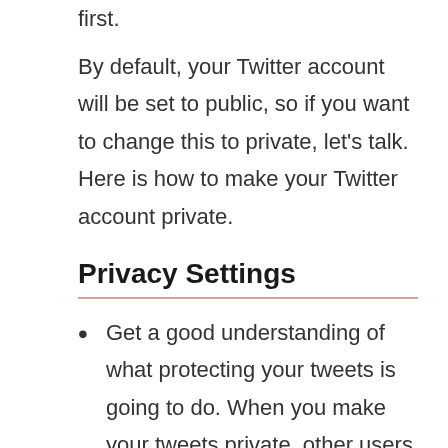first.
By default, your Twitter account will be set to public, so if you want to change this to private, let’s talk. Here is how to make your Twitter account private.
Privacy Settings
Get a good understanding of what protecting your tweets is going to do. When you make your tweets private, other users will need to follow you in order to see your content. Only approved followers will be able to see your tweets, and other users who aren’t following